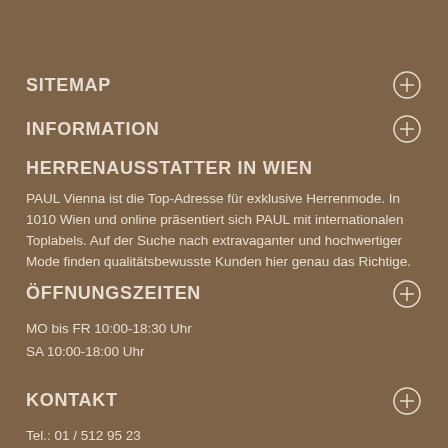SITEMAP
INFORMATION
HERRENAUSSTATTER IN WIEN
PAUL Vienna ist die Top-Adresse für exklusive Herrenmode. In 1010 Wien und online präsentiert sich PAUL mit internationalen Toplabels. Auf der Suche nach extravaganter und hochwertiger Mode finden qualitätsbewusste Kunden hier genau das Richtige.
ÖFFNUNGSZEITEN
MO bis FR 10:00-18:30 Uhr
SA 10:00-18:00 Uhr
KONTAKT
Tel.: 01 / 512 95 23